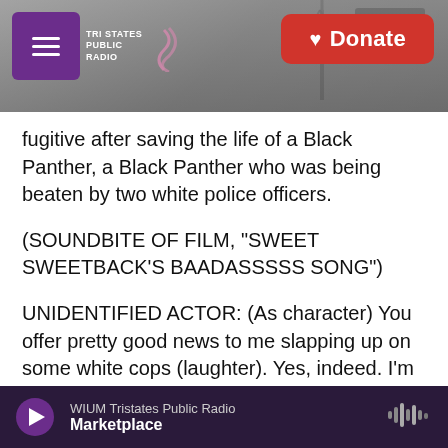Tri States Public Radio — Donate
fugitive after saving the life of a Black Panther, a Black Panther who was being beaten by two white police officers.
(SOUNDBITE OF FILM, "SWEET SWEETBACK'S BAADASSSSS SONG")
UNIDENTIFIED ACTOR: (As character) You offer pretty good news to me slapping up on some white cops (laughter). Yes, indeed. I'm going to say a Black Ave Maria for you.
MARTIN: The film was the first of its kind. And it had a tiny budget of about $150,000. It went on to
WIUM Tristates Public Radio — Marketplace